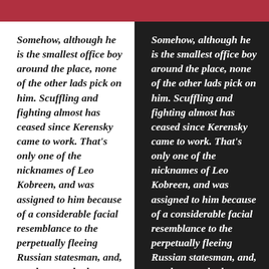[Figure (other): Red horizontal bar at top of page]
Somehow, although he is the smallest office boy around the place, none of the other lads pick on him. Scuffling and fighting almost has ceased since Kerensky came to work. That's only one of the nicknames of Leo Kobreen, and was assigned to him because of a considerable facial resemblance to the perpetually fleeing Russian statesman, and, too, because both
Somehow, although he is the smallest office boy around the place, none of the other lads pick on him. Scuffling and fighting almost has ceased since Kerensky came to work. That's only one of the nicknames of Leo Kobreen, and was assigned to him because of a considerable facial resemblance to the perpetually fleeing Russian statesman, and, too, because both